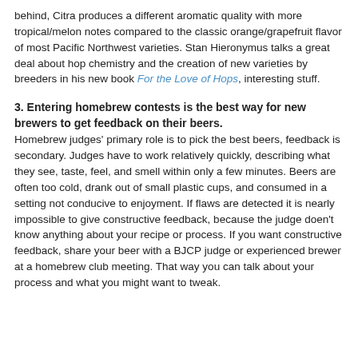behind, Citra produces a different aromatic quality with more tropical/melon notes compared to the classic orange/grapefruit flavor of most Pacific Northwest varieties. Stan Hieronymus talks a great deal about hop chemistry and the creation of new varieties by breeders in his new book For the Love of Hops, interesting stuff.
3. Entering homebrew contests is the best way for new brewers to get feedback on their beers.
Homebrew judges' primary role is to pick the best beers, feedback is secondary. Judges have to work relatively quickly, describing what they see, taste, feel, and smell within only a few minutes. Beers are often too cold, drank out of small plastic cups, and consumed in a setting not conducive to enjoyment. If flaws are detected it is nearly impossible to give constructive feedback, because the judge doen't know anything about your recipe or process. If you want constructive feedback, share your beer with a BJCP judge or experienced brewer at a homebrew club meeting. That way you can talk about your process and what you might want to tweak.